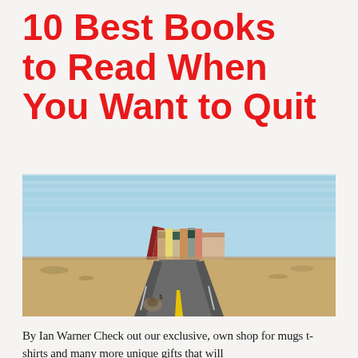10 Best Books to Read When You Want to Quit
[Figure (photo): A surreal composite image showing a straight desert highway leading toward a row of books standing upright like buildings or a city skyline, against a blue wooden plank background. A snail is visible on the road in the foreground.]
By Ian Warner Check out our exclusive, own shop for mugs t-shirts and many more unique gifts that will